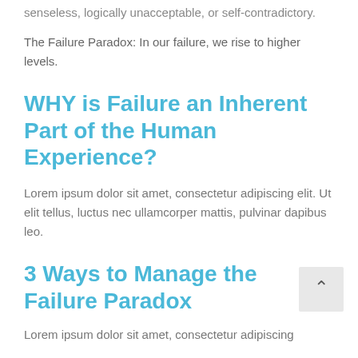senseless, logically unacceptable, or self-contradictory.
The Failure Paradox: In our failure, we rise to higher levels.
WHY is Failure an Inherent Part of the Human Experience?
Lorem ipsum dolor sit amet, consectetur adipiscing elit. Ut elit tellus, luctus nec ullamcorper mattis, pulvinar dapibus leo.
3 Ways to Manage the Failure Paradox
Lorem ipsum dolor sit amet, consectetur adipiscing